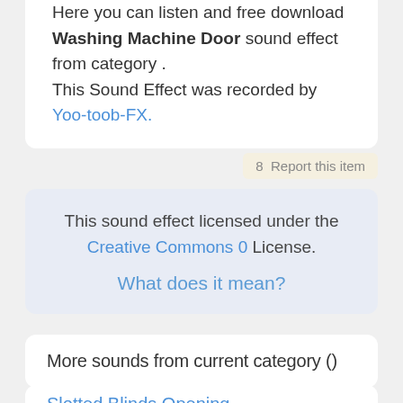Here you can listen and free download Washing Machine Door sound effect from category . This Sound Effect was recorded by Yoo-toob-FX.
8  Report this item
This sound effect licensed under the Creative Commons 0 License.
What does it mean?
More sounds from current category ()
Slotted Blinds Opening